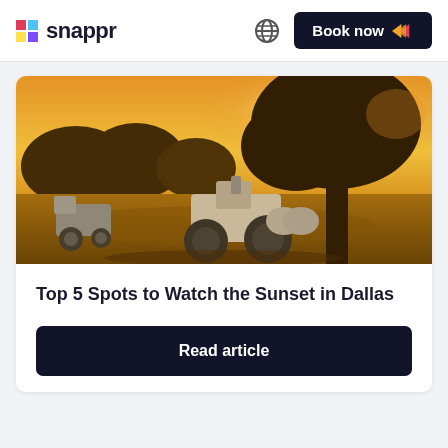snappr | Book now
[Figure (photo): Farm scene at golden hour sunset — two old tractors parked under a large tree with warm amber light flooding the scene, rolling fields in the background]
Top 5 Spots to Watch the Sunset in Dallas
Read article